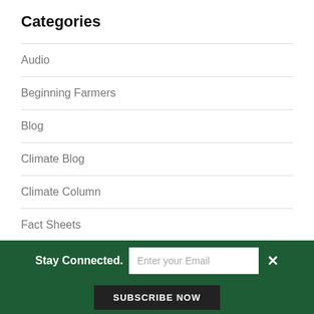Categories
Audio
Beginning Farmers
Blog
Climate Blog
Climate Column
Fact Sheets
Food Safety
From the Field
Stay Connected. Enter your Email SUBSCRIBE NOW